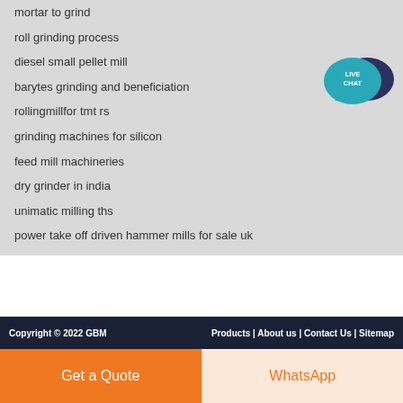mortar to grind
roll grinding process
diesel small pellet mill
barytes grinding and beneficiation
rollingmillfor tmt rs
grinding machines for silicon
feed mill machineries
dry grinder in india
unimatic milling ths
power take off driven hammer mills for sale uk
[Figure (illustration): Live Chat speech bubble icon with teal foreground bubble and dark blue background bubble, text reading LIVE CHAT in white]
Copyright © 2022 GBM    Products | About us | Contact Us | Sitemap
Get a Quote
WhatsApp